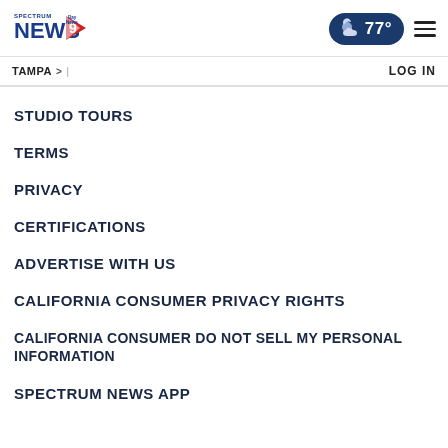Spectrum News 9 | TAMPA | 77° | LOG IN
STUDIO TOURS
TERMS
PRIVACY
CERTIFICATIONS
ADVERTISE WITH US
CALIFORNIA CONSUMER PRIVACY RIGHTS
CALIFORNIA CONSUMER DO NOT SELL MY PERSONAL INFORMATION
SPECTRUM NEWS APP